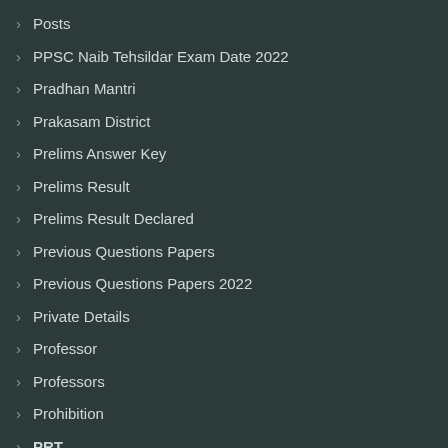Posts
PPSC Naib Tehsildar Exam Date 2022
Pradhan Mantri
Prakasam District
Prelims Answer Key
Prelims Result
Prelims Result Declared
Previous Questions Papers
Previous Questions Papers 2022
Private Details
Professor
Professors
Prohibition
PRT